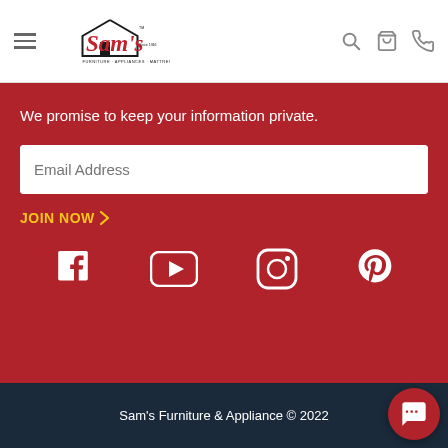[Figure (logo): Sam's Furniture Appliances Mattresses logo with red script lettering and house icon]
We promise to keep your information private.
Email Address
JOIN NOW ›
[Figure (infographic): Social media icons row: Facebook, YouTube, Instagram, Pinterest]
Sam's Furniture & Appliance © 2022